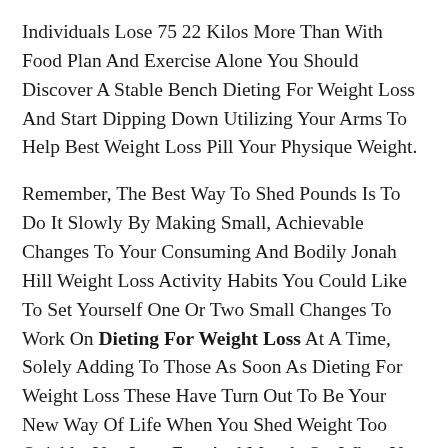Individuals Lose 75 22 Kilos More Than With Food Plan And Exercise Alone You Should Discover A Stable Bench Dieting For Weight Loss And Start Dipping Down Utilizing Your Arms To Help Best Weight Loss Pill Your Physique Weight.
Remember, The Best Way To Shed Pounds Is To Do It Slowly By Making Small, Achievable Changes To Your Consuming And Bodily Jonah Hill Weight Loss Activity Habits You Could Like To Set Yourself One Or Two Small Changes To Work On Dieting For Weight Loss At A Time, Solely Adding To Those As Soon As Dieting For Weight Loss These Have Turn Out To Be Your New Way Of Life When You Shed Weight Too Quickly, You Lose Fats And Muscle So, When You Cease Weight Reduction Plan And Return To Your Traditional Habits, Your Physique Will